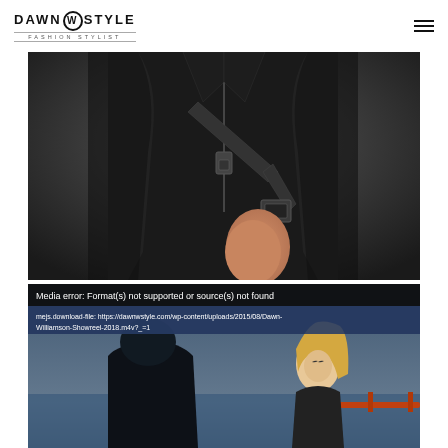DAWN W STYLE — FASHION STYLIST
[Figure (photo): Close-up photo of a person wearing a black leather jacket with zipper and belt details against a dark gray background]
[Figure (screenshot): Video player showing media error: Format(s) not supported or source(s) not found. Download file link: https://dawnwstyle.com/wp-content/uploads/2015/08/Dawn-Williamson-Showreel-2018.m4v?_=1. Background shows two people near waterfront, one in dark hoodie facing away, one blonde woman smiling.]